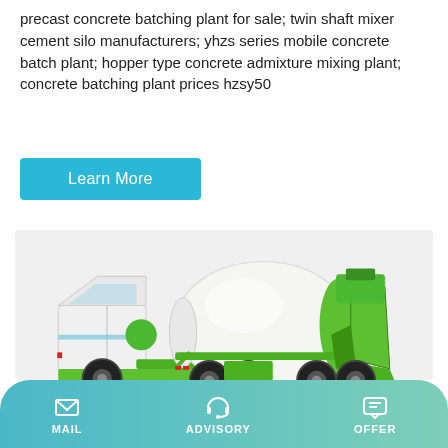precast concrete batching plant for sale; twin shaft mixer cement silo manufacturers; yhzs series mobile concrete batch plant; hopper type concrete admixture mixing plant; concrete batching plant prices hzsy50
Learn More
[Figure (photo): A green and white concrete mixer truck with a large rotating drum, green chassis and frame, black tires, and a discharge chute at the rear.]
MAIL   ADVISORY   OFFER